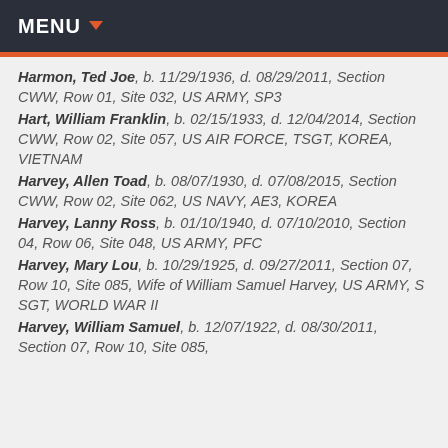MENU
Harmon, Ted Joe, b. 11/29/1936, d. 08/29/2011, Section CWW, Row 01, Site 032, US ARMY, SP3
Hart, William Franklin, b. 02/15/1933, d. 12/04/2014, Section CWW, Row 02, Site 057, US AIR FORCE, TSGT, KOREA, VIETNAM
Harvey, Allen Toad, b. 08/07/1930, d. 07/08/2015, Section CWW, Row 02, Site 062, US NAVY, AE3, KOREA
Harvey, Lanny Ross, b. 01/10/1940, d. 07/10/2010, Section 04, Row 06, Site 048, US ARMY, PFC
Harvey, Mary Lou, b. 10/29/1925, d. 09/27/2011, Section 07, Row 10, Site 085, Wife of William Samuel Harvey, US ARMY, S SGT, WORLD WAR II
Harvey, William Samuel, b. 12/07/1922, d. 08/30/2011, Section 07, Row 10, Site 085,